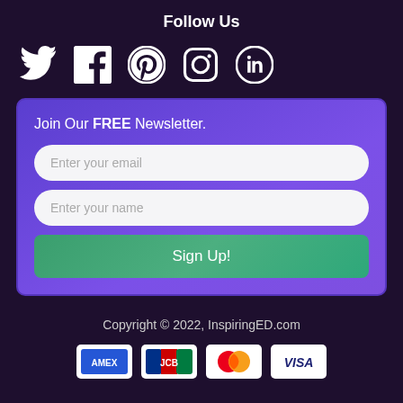Follow Us
[Figure (infographic): Row of social media icons: Twitter, Facebook, Pinterest, Instagram, LinkedIn — white icons on dark background]
Join Our FREE Newsletter.
Enter your email
Enter your name
Sign Up!
Copyright © 2022, InspiringED.com
[Figure (infographic): Payment method logos: AMEX, JCB, Mastercard, VISA]